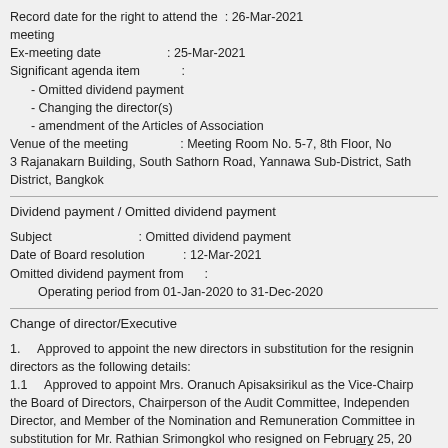Record date for the right to attend the : 26-Mar-2021 meeting
Ex-meeting date : 25-Mar-2021
Significant agenda item :
- Omitted dividend payment
- Changing the director(s)
- amendment of the Articles of Association
Venue of the meeting : Meeting Room No. 5-7, 8th Floor, No 3 Rajanakarn Building, South Sathorn Road, Yannawa Sub-District, Sath District, Bangkok
Dividend payment / Omitted dividend payment
Subject : Omitted dividend payment
Date of Board resolution : 12-Mar-2021
Omitted dividend payment from :
Operating period from 01-Jan-2020 to 31-Dec-2020
Change of director/Executive
1.    Approved to appoint the new directors in substitution for the resigning directors as the following details:
1.1    Approved to appoint Mrs. Oranuch Apisaksirikul as the Vice-Chairp the Board of Directors, Chairperson of the Audit Committee, Independen Director, and Member of the Nomination and Remuneration Committee in substitution for Mr. Rathian Srimongkol who resigned on February 25, 20
1.2    Approved to appoint Mr. Frank Cancelloni as the Independent Direc of the Audit Committee, and Chairman of the Nomination and Remunerac Committee in substitution for Mr. Kris Thirakaosal who resigned as M